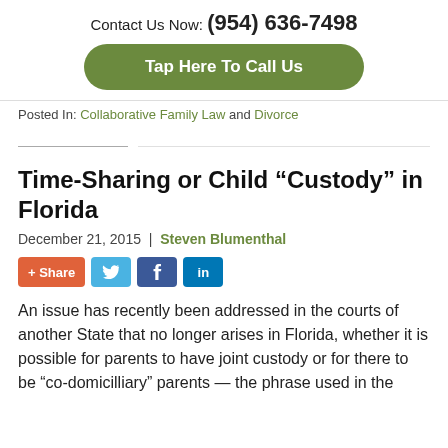Contact Us Now: (954) 636-7498
[Figure (other): Green rounded button reading 'Tap Here To Call Us']
Posted In: Collaborative Family Law and Divorce
Time-Sharing or Child “Custody” in Florida
December 21, 2015 | Steven Blumenthal
[Figure (other): Social share buttons: + Share, Twitter, Facebook, LinkedIn]
An issue has recently been addressed in the courts of another State that no longer arises in Florida, whether it is possible for parents to have joint custody or for there to be “co-domicilliary” parents — the phrase used in the